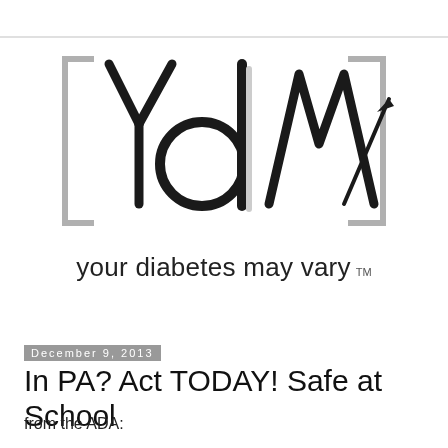[Figure (logo): YdM logo — stylized letters Y, d, M with an upward trending line/arrow incorporated, enclosed in square brackets. Tagline: 'your diabetes may vary ™']
December 9, 2013
In PA? Act TODAY! Safe at School
from the ADA: